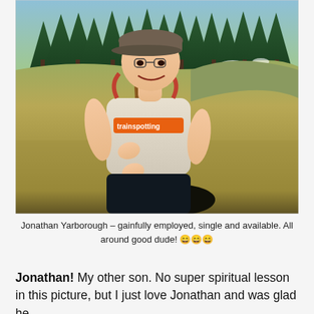[Figure (photo): A young man with a cap and backpack holding a walking stick, standing in an outdoor alpine meadow with evergreen trees in the background. He is wearing a white Trainspotting t-shirt and smiling at the camera.]
Jonathan Yarborough – gainfully employed, single and available. All around good dude! 😄😄😄
Jonathan! My other son. No super spiritual lesson in this picture, but I just love Jonathan and was glad he